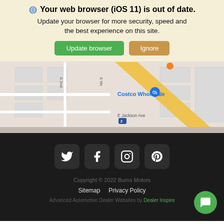🌐 Your web browser (iOS 11) is out of date. Update your browser for more security, speed and the best experience on this site.
[Figure (map): Google Maps screenshot showing area near Costco Wholesale, E Jackson Ave, S 2nd and S Mc streets]
[Figure (infographic): Social media icons: Twitter, Facebook, Instagram, Pinterest on dark background]
Copyright © 2022 Burns Motors
Sitemap   Privacy Policy
Advanced Automotive Dealer Websites by Dealer Inspire